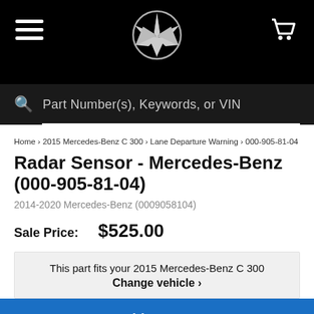[Figure (screenshot): Mercedes-Benz website header with hamburger menu, star logo, and cart icon on black background]
Part Number(s), Keywords, or VIN
Home › 2015 Mercedes-Benz C 300 › Lane Departure Warning › 000-905-81-04
Radar Sensor - Mercedes-Benz (000-905-81-04)
2014-2020 Mercedes-Benz (0009058104)
Sale Price: $525.00
This part fits your 2015 Mercedes-Benz C 300
Change vehicle ›
Add To Cart